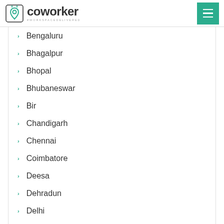coworker #WORKSPACEDELIVERED
Bengaluru
Bhagalpur
Bhopal
Bhubaneswar
Bir
Chandigarh
Chennai
Coimbatore
Deesa
Dehradun
Delhi
Dharamshala
Dhule
Ernakulam
Faridabad